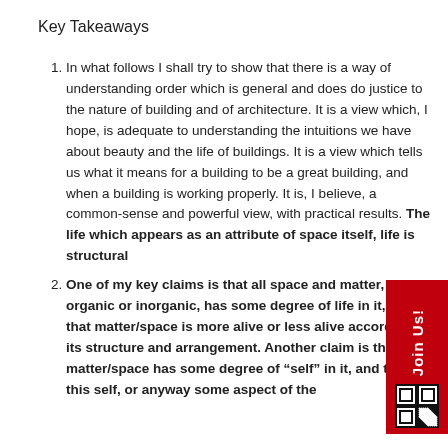Key Takeaways
In what follows I shall try to show that there is a way of understanding order which is general and does do justice to the nature of building and of architecture. It is a view which, I hope, is adequate to understanding the intuitions we have about beauty and the life of buildings. It is a view which tells us what it means for a building to be a great building, and when a building is working properly. It is, I believe, a common-sense and powerful view, with practical results. The life which appears as an attribute of space itself, life is structural
One of my key claims is that all space and matter, organic or inorganic, has some degree of life in it, and that matter/space is more alive or less alive according to its structure and arrangement. Another claim is that all matter/space has some degree of “self” in it, and that this self, or anyway some aspect of the